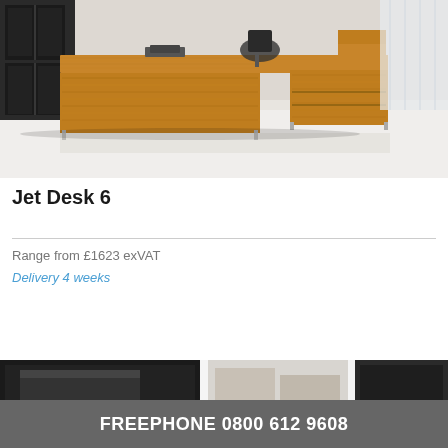[Figure (photo): Photo of a modern executive L-shaped office desk in walnut wood veneer with a pedestal unit, shown in a bright white office setting with office chair and storage cabinet in background.]
Jet Desk 6
Range from £1623 exVAT
Delivery 4 weeks
[Figure (photo): Partial view of other product images in catalogue row at bottom.]
FREEPHONE 0800 612 9608